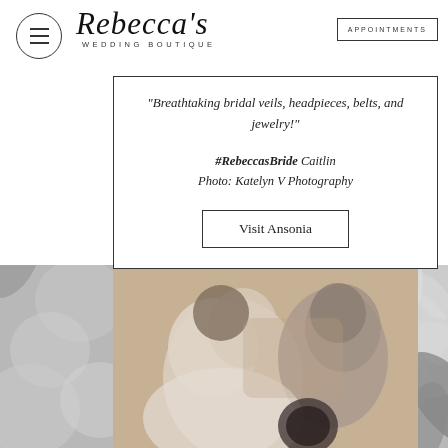[Figure (photo): Decorative floral background with large white/grey flowers and leaves on a grey background]
Rebecca's Wedding Boutique | APPOINTMENTS
"Breathtaking bridal veils, headpieces, belts, and jewelry!"
#RebeccasBride Caitlin
Photo: Katelyn V Photography
Visit Ansonia
[Figure (photo): Blurred photograph of a bride and groom, soft and out of focus, showing a woman in white and a man in dark attire]